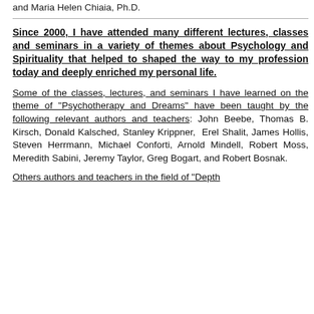and Maria Helen Chiaia, Ph.D.
Since 2000, I have attended many different lectures, classes and seminars in a variety of themes about Psychology and Spirituality that helped to shaped the way to my profession today and deeply enriched my personal life.
Some of the classes, lectures, and seminars I have learned on the theme of "Psychotherapy and Dreams" have been taught by the following relevant authors and teachers: John Beebe, Thomas B. Kirsch, Donald Kalsched, Stanley Krippner, Erel Shalit, James Hollis, Steven Herrmann, Michael Conforti, Arnold Mindell, Robert Moss, Meredith Sabini, Jeremy Taylor, Greg Bogart, and Robert Bosnak.
Others authors and teachers in the field of "Depth Psychology" and "Spirituality" that still is f...